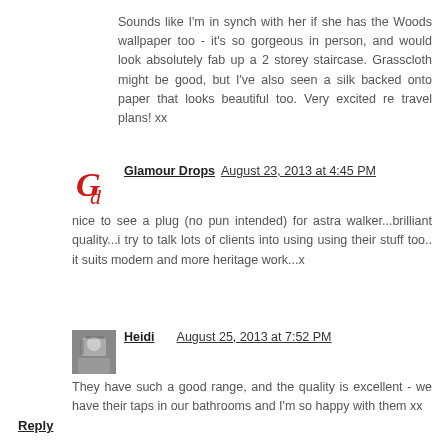Sounds like I'm in synch with her if she has the Woods wallpaper too - it's so gorgeous in person, and would look absolutely fab up a 2 storey staircase. Grasscloth might be good, but I've also seen a silk backed onto paper that looks beautiful too. Very excited re travel plans! xx
Glamour Drops  August 23, 2013 at 4:45 PM
nice to see a plug (no pun intended) for astra walker...brilliant quality...i try to talk lots of clients into using using their stuff too.. it suits modern and more heritage work...x
Heidi  August 25, 2013 at 7:52 PM
They have such a good range, and the quality is excellent - we have their taps in our bathrooms and I'm so happy with them xx
Reply